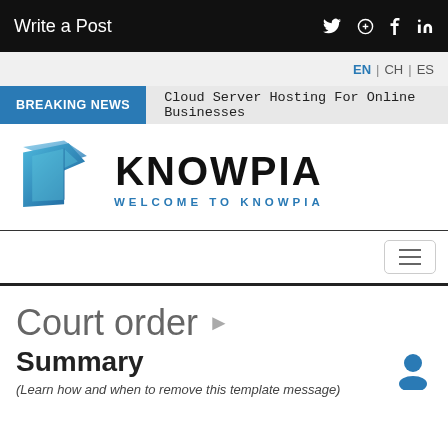Write a Post
EN | CH | ES
BREAKING NEWS   Cloud Server Hosting For Online Businesses
[Figure (logo): Knowpia blue folded paper K logo]
KNOWPIA
WELCOME TO KNOWPIA
[Figure (infographic): Hamburger menu icon button]
Court order
Summary
(Learn how and when to remove this template message)